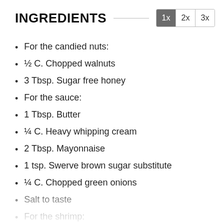INGREDIENTS
For the candied nuts:
½ C. Chopped walnuts
3 Tbsp. Sugar free honey
For the sauce:
1 Tbsp. Butter
¼ C. Heavy whipping cream
2 Tbsp. Mayonnaise
1 tsp. Swerve brown sugar substitute
¼ C. Chopped green onions
Salt to taste
For the shrimp:
1 lb. Shrimp peeled and deveined
⅔ C. Almond flour
⅓ C. Sparkling water